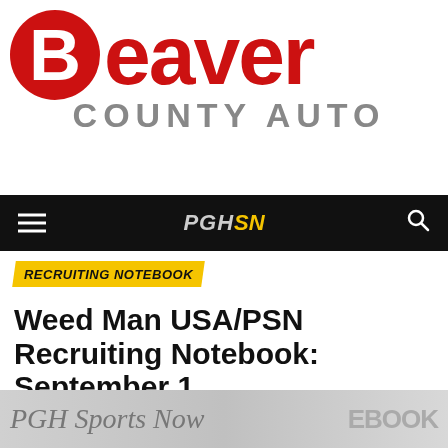[Figure (logo): Beaver County Auto logo with red circle containing letter B, followed by 'Beaver' in red bold text, and 'COUNTY AUTO' in gray below]
[Figure (screenshot): PGH Sports Now navigation bar with hamburger menu on left, PGHSN logo in center (PGH in gray italic, SN in yellow), and search icon on right]
RECRUITING NOTEBOOK
Weed Man USA/PSN Recruiting Notebook: September 1
Published 4 years ago on September 1, 2018
By Mike Vukovcan
[Figure (photo): Bottom portion of article image showing 'PGH Sports Now' text in script/italic style over a gray background with partial text 'EBOOK' on the right]